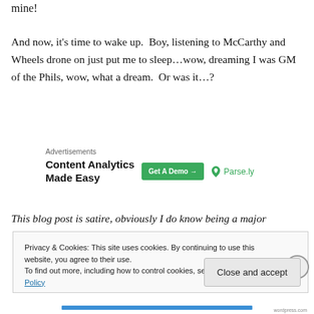mine!
And now, it's time to wake up.  Boy, listening to McCarthy and Wheels drone on just put me to sleep…wow, dreaming I was GM of the Phils, wow, what a dream.  Or was it…?
[Figure (other): Advertisement banner: 'Content Analytics Made Easy' with 'Get A Demo →' button and Parse.ly logo]
This blog post is satire, obviously I do know being a major
Privacy & Cookies: This site uses cookies. By continuing to use this website, you agree to their use.
To find out more, including how to control cookies, see here: Cookie Policy